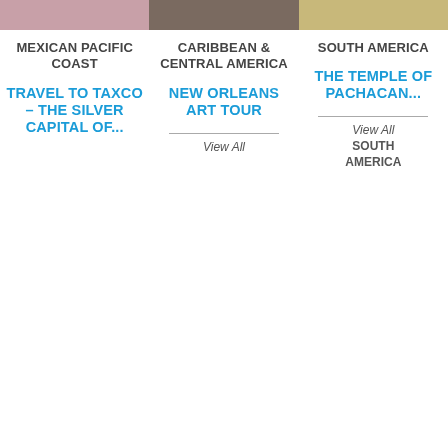[Figure (photo): Three cropped travel photos at top: street scene with pink flowers, dark interior scene, and wooden/straw texture]
MEXICAN PACIFIC COAST
CARIBBEAN & CENTRAL AMERICA
SOUTH AMERICA
TRAVEL TO TAXCO – THE SILVER CAPITAL OF...
NEW ORLEANS ART TOUR
THE TEMPLE OF PACHACAMAC
View All
View All SOUTH AMERICA